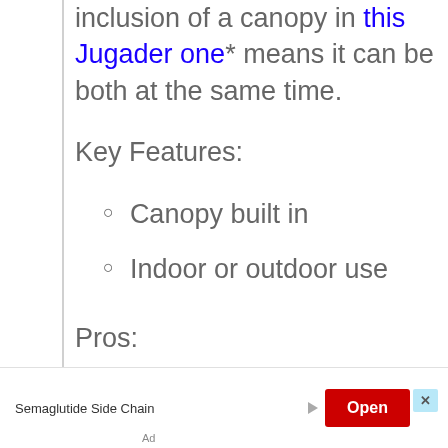inclusion of a canopy in this Jugader one* means it can be both at the same time.
Key Features:
Canopy built in
Indoor or outdoor use
Pros:
The canopy allows the dome to be used as a play house.
Semaglutide Side Chain  Open  Ad